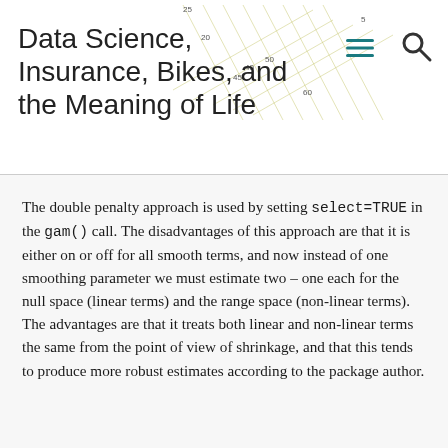Data Science, Insurance, Bikes, and the Meaning of Life
[Figure (continuous-plot): Partial background plot visible in the top-right corner of the page header, showing a 3D surface or contour chart with grid lines in light yellow/green tones and axis numbers (20, 25, 40, 45, 50, 60).]
The double penalty approach is used by setting select=TRUE in the gam() call. The disadvantages of this approach are that it is either on or off for all smooth terms, and now instead of one smoothing parameter we must estimate two – one each for the null space (linear terms) and the range space (non-linear terms). The advantages are that it treats both linear and non-linear terms the same from the point of view of shrinkage, and that this tends to produce more robust estimates according to the package author.